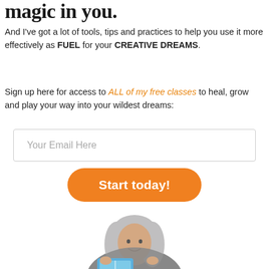magic in you.
And I've got a lot of tools, tips and practices to help you use it more effectively as FUEL for your CREATIVE DREAMS.
Sign up here for access to ALL of my free classes to heal, grow and play your way into your wildest dreams:
Your Email Here
Start today!
[Figure (photo): A smiling woman with long gray hair holding open a book or journal, shown from the shoulders up against a white background.]